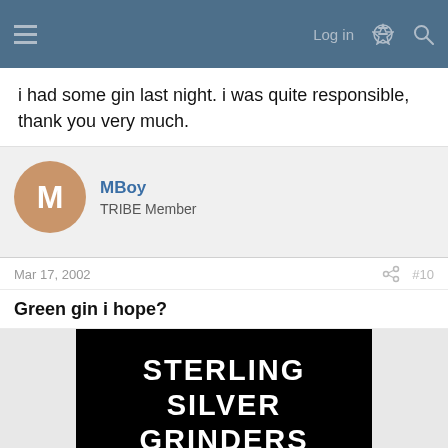Log in
i had some gin last night. i was quite responsible, thank you very much.
MBoy
TRIBE Member
Mar 17, 2002   #10
Green gin i hope?
[Figure (photo): Advertisement image with white text on black background reading: STERLING SILVER GRINDERS, with metallic grinder objects visible at bottom.]